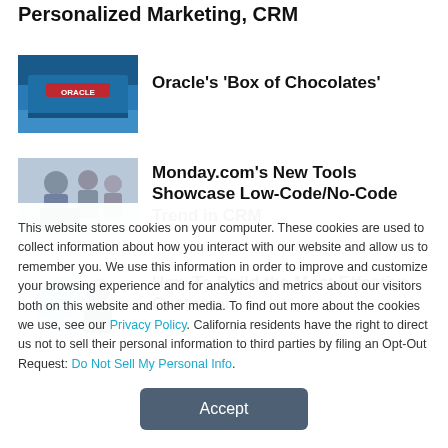Personalized Marketing, CRM
[Figure (photo): Oracle building exterior with blue sky]
Oracle's 'Box of Chocolates'
[Figure (photo): People at computers in office setting]
Monday.com's New Tools Showcase Low-Code/No-Code Trend in CRM
[Figure (photo): Abstract customer illustration with blue circle graphic]
How To Build the Most Effective Customer
This website stores cookies on your computer. These cookies are used to collect information about how you interact with our website and allow us to remember you. We use this information in order to improve and customize your browsing experience and for analytics and metrics about our visitors both on this website and other media. To find out more about the cookies we use, see our Privacy Policy. California residents have the right to direct us not to sell their personal information to third parties by filing an Opt-Out Request: Do Not Sell My Personal Info.